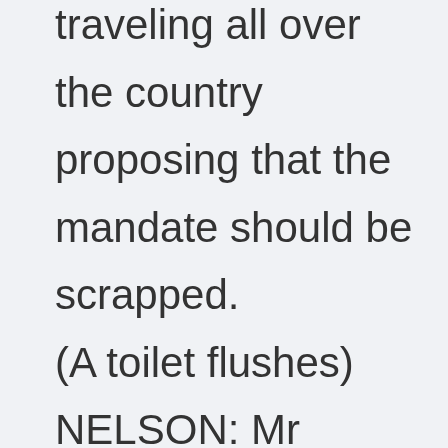traveling all over the country proposing that the mandate should be scrapped.

(A toilet flushes)

NELSON: Mr